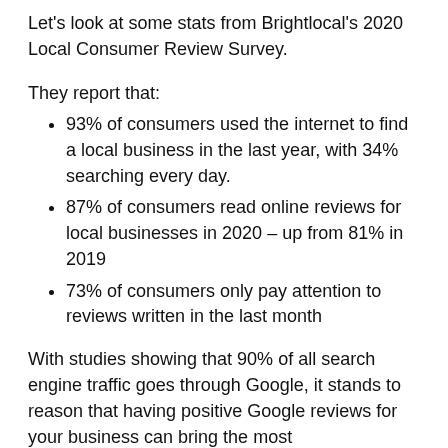Let's look at some stats from Brightlocal's 2020 Local Consumer Review Survey.
They report that:
93% of consumers used the internet to find a local business in the last year, with 34% searching every day.
87% of consumers read online reviews for local businesses in 2020 – up from 81% in 2019
73% of consumers only pay attention to reviews written in the last month
With studies showing that 90% of all search engine traffic goes through Google, it stands to reason that having positive Google reviews for your business can bring the most